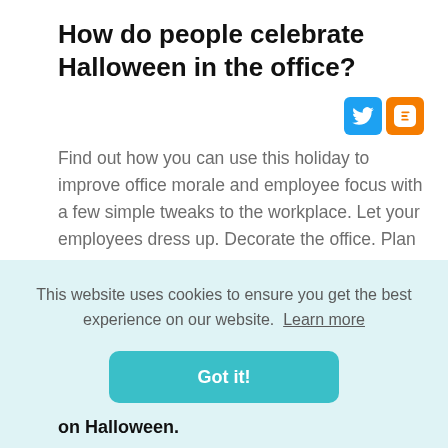How do people celebrate Halloween in the office?
[Figure (other): Twitter and Blogger social share icons]
Find out how you can use this holiday to improve office morale and employee focus with a few simple tweaks to the workplace. Let your employees dress up. Decorate the office. Plan a few Halloween-themed games. Give out treats. Throw an office party.
This website uses cookies to ensure you get the best experience on our website.  Learn more
Got it!
on Halloween.